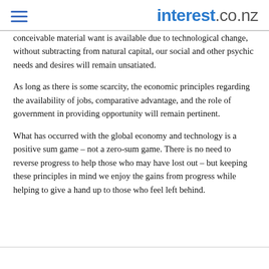interest.co.nz
conceivable material want is available due to technological change, without subtracting from natural capital, our social and other psychic needs and desires will remain unsatiated.
As long as there is some scarcity, the economic principles regarding the availability of jobs, comparative advantage, and the role of government in providing opportunity will remain pertinent.
What has occurred with the global economy and technology is a positive sum game – not a zero-sum game. There is no need to reverse progress to help those who may have lost out – but keeping these principles in mind we enjoy the gains from progress while helping to give a hand up to those who feel left behind.